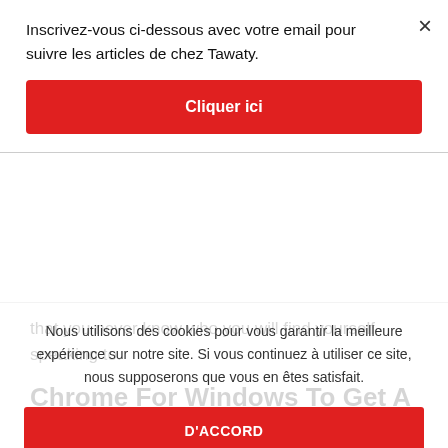Inscrivez-vous ci-dessous avec votre email pour suivre les articles de chez Tawaty.
Cliquer ici
that you never know who you will find yourself speaking to.
Chrome For Windows To Get A Robust Screenshot And Enhancing Device
This is extremely unfair to me contemplating i have never accomplished anything incorrect. I tried some a selection of
Nous utilisons des cookies pour vous garantir la meilleure expérience sur notre site. Si vous continuez à utiliser ce site, nous supposerons que vous en êtes satisfait.
D'ACCORD
ner plusieurs livres tels que, as well as subsequently ui